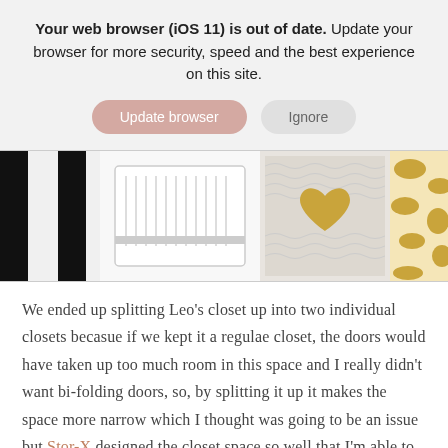Your web browser (iOS 11) is out of date. Update your browser for more security, speed and the best experience on this site.
[Figure (photo): Browser update and ignore buttons in a gray notification banner, followed by a photo strip showing a nursery room with cribs, a knitted blanket with a gold heart, and a giraffe print item.]
We ended up splitting Leo’s closet up into two individual closets becasue if we kept it a regulae closet, the doors would have taken up too much room in this space and I really didn’t want bi-folding doors, so, by splitting it up it makes the space more narrow which I thought was going to be an issue but Stor-X designed the closet space so well that I’m able to keep so much stuff in there including all of Leo’s clothes, socks, shoes, momentous, accessories, travel gear and extra